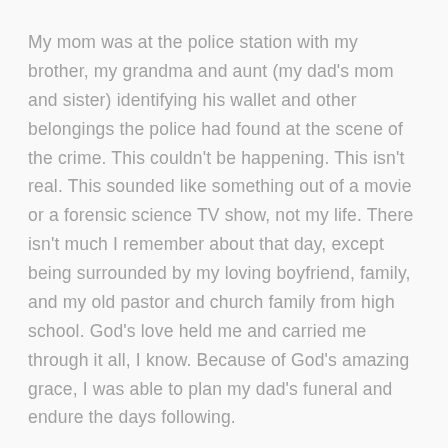My mom was at the police station with my brother, my grandma and aunt (my dad's mom and sister) identifying his wallet and other belongings the police had found at the scene of the crime. This couldn't be happening. This isn't real. This sounded like something out of a movie or a forensic science TV show, not my life. There isn't much I remember about that day, except being surrounded by my loving boyfriend, family, and my old pastor and church family from high school. God's love held me and carried me through it all, I know. Because of God's amazing grace, I was able to plan my dad's funeral and endure the days following.